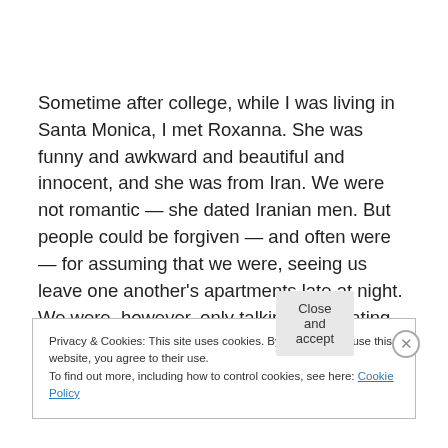Sometime after college, while I was living in Santa Monica, I met Roxanna. She was funny and awkward and beautiful and innocent, and she was from Iran. We were not romantic — she dated Iranian men. But people could be forgiven — and often were — for assuming that we were, seeing us leave one another's apartments late at night. We were, however, only talking. And eating. Continue
Privacy & Cookies: This site uses cookies. By continuing to use this website, you agree to their use. To find out more, including how to control cookies, see here: Cookie Policy
Close and accept